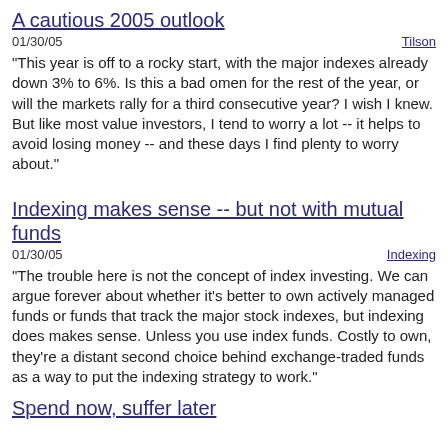A cautious 2005 outlook
01/30/05	Tilson
"This year is off to a rocky start, with the major indexes already down 3% to 6%. Is this a bad omen for the rest of the year, or will the markets rally for a third consecutive year? I wish I knew. But like most value investors, I tend to worry a lot -- it helps to avoid losing money -- and these days I find plenty to worry about."
Indexing makes sense -- but not with mutual funds
01/30/05	Indexing
"The trouble here is not the concept of index investing. We can argue forever about whether it's better to own actively managed funds or funds that track the major stock indexes, but indexing does makes sense. Unless you use index funds. Costly to own, they're a distant second choice behind exchange-traded funds as a way to put the indexing strategy to work."
Spend now, suffer later